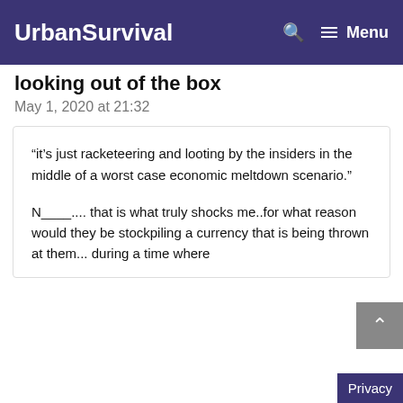UrbanSurvival
looking out of the box
May 1, 2020 at 21:32
“it’s just racketeering and looting by the insiders in the middle of a worst case economic meltdown scenario.”
N____.... that is what truly shocks me..for what reason would they be stockpiling a currency that is being thrown at them... during a time where